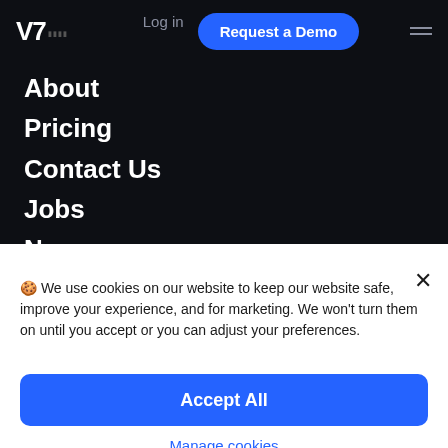V7 | Log in | Request a Demo
About
Pricing
Contact Us
Jobs
News
Data Security
🍪 We use cookies on our website to keep our website safe, improve your experience, and for marketing. We won't turn them on until you accept or you can adjust your preferences.
Accept All
Manage cookies